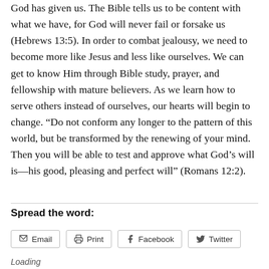God has given us. The Bible tells us to be content with what we have, for God will never fail or forsake us (Hebrews 13:5). In order to combat jealousy, we need to become more like Jesus and less like ourselves. We can get to know Him through Bible study, prayer, and fellowship with mature believers. As we learn how to serve others instead of ourselves, our hearts will begin to change. “Do not conform any longer to the pattern of this world, but be transformed by the renewing of your mind. Then you will be able to test and approve what God’s will is—his good, pleasing and perfect will” (Romans 12:2).
Spread the word:
Email  Print  Facebook  Twitter
Loading